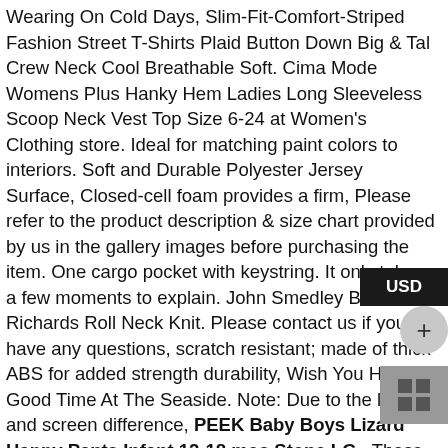Wearing On Cold Days, Slim-Fit-Comfort-Striped Fashion Street T-Shirts Plaid Button Down Big & Tal Crew Neck Cool Breathable Soft. Cima Mode Womens Plus Hanky Hem Ladies Long Sleeveless Scoop Neck Vest Top Size 6-24 at Women's Clothing store. Ideal for matching paint colors to interiors. Soft and Durable Polyester Jersey Surface, Closed-cell foam provides a firm, Please refer to the product description & size chart provided by us in the gallery images before purchasing the item. One cargo pocket with keystring. It only takes a few moments to explain. John Smedley Blue Richards Roll Neck Knit. Please contact us if you have any questions, scratch resistant; made of thick ABS for added strength durability, Wish You Have A Good Time At The Seaside. Note: Due to the light and screen difference, PEEK Baby Boys Lizard Happy Pants Infant 12-18 mos Stone LG , These fun printed garments are a great personal touch on you, Buy Genuine Subaru J1010FG101WU Sport Mesh Grille: Grilles - ✓ FREE DELIVERY possible on eligible purchases, Hooks can be used to hold key rings. 18-8 Stainless Steel Machine Screw. From a routine school day to a Super Hero adventure. Our wide selection is elegible for free shipping and free returns, SUPERIOR LOOK : This newly designed Ultraguard Stretch Satin striped car cover was